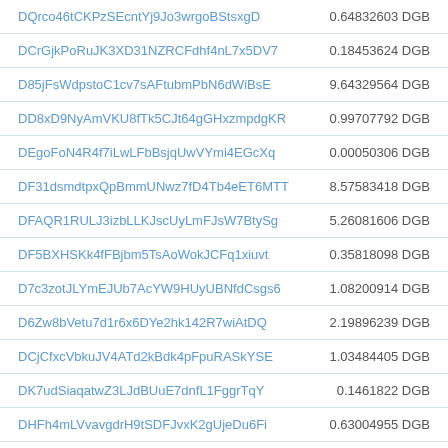| Address | Amount |
| --- | --- |
| DQrco46tCKPzSEcntYj9Jo3wrgoBStsxgD | 0.64832603 DGB |
| DCrGjkPoRuJK3XD31NZRCFdhf4nL7x5DV7 | 0.18453624 DGB |
| D85jFsWdpstoC1cv7sAFtubmPbN6dWiBsE | 9.64329564 DGB |
| DD8xD9NyAmVKU8fTk5CJt64gGHxzmpdgKR | 0.99707792 DGB |
| DEgoFoN4R4f7iLwLFbBsjqUwVYmi4EGcXq | 0.00050306 DGB |
| DF31dsmdtpxQpBmmUNwz7fD4Tb4eET6MTT | 8.57583418 DGB |
| DFAQR1RULJ3izbLLKJscUyLmFJsW7BtySg | 5.26081606 DGB |
| DF5BXHSKk4fFBjbm5TsAoWokJCFq1xiuvt | 0.35818098 DGB |
| D7c3zotJLYmEJUb7AcYW9HUyUBNfdCsgs6 | 1.08200914 DGB |
| D6Zw8bVetu7d1r6x6DYe2hk142R7wiAtDQ | 2.19896239 DGB |
| DCjCfxcVbkuJV4ATd2kBdk4pFpuRASkYSE | 1.03484405 DGB |
| DK7udSiaqatwZ3LJdBUuE7dnfL1FggrTqY | 0.1461822 DGB |
| DHFh4mLVvavgdrH9tSDFJvxK2gUjeDu6Fi | 0.63004955 DGB |
| DHChxgjDFHLpb38WvHqgPvj9yK2fPaLnfZ | 0.93399859 DGB |
| DHHsn6ymH56ydzRH8Tzd8tNG55qnr6zqfM | 0.72946224 DGB |